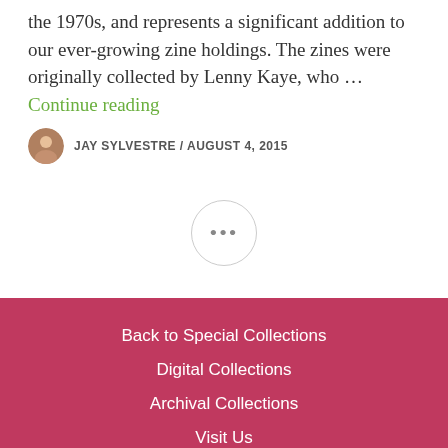the 1970s, and represents a significant addition to our ever-growing zine holdings. The zines were originally collected by Lenny Kaye, who … Continue reading
JAY SYLVESTRE / AUGUST 4, 2015
[Figure (other): Circular button with three dots (ellipsis navigation element)]
Back to Special Collections
Digital Collections
Archival Collections
Visit Us
[Figure (other): Social media icons: Instagram, Twitter, Facebook]
[Figure (logo): WordPress logo icon]